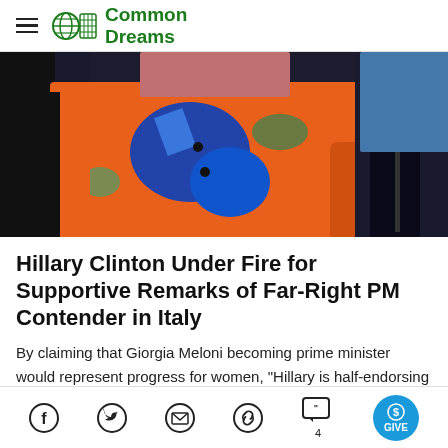Common Dreams
[Figure (photo): Woman in orange patterned jacket at a public event, photographed from the torso area up, with other attendees in background.]
Hillary Clinton Under Fire for Supportive Remarks of Far-Right PM Contender in Italy
By claiming that Giorgia Meloni becoming prime minister would represent progress for women, "Hillary is half-endorsing the fascist takeover in Italy the rest of
Social sharing icons: Facebook, Twitter, Email, Link, Comments (4), Give